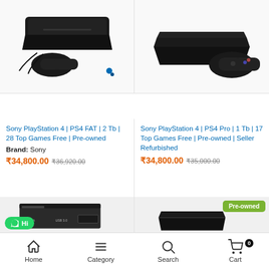[Figure (photo): Sony PlayStation 4 FAT console with controller and accessories]
Sony PlayStation 4 | PS4 FAT | 2 Tb | 28 Top Games Free | Pre-owned
Brand: Sony
₹34,800.00 ₹36,920.00
[Figure (photo): Sony PlayStation 4 Pro console with controller]
Sony PlayStation 4 | PS4 Pro | 1 Tb | 17 Top Games Free | Pre-owned | Seller Refurbished
₹34,800.00 ₹35,000.00
[Figure (photo): External hard drive USB 3.0 2.5 SATA]
[Figure (photo): Sony PlayStation 4 Slim console]
Home  Category  Search  Cart